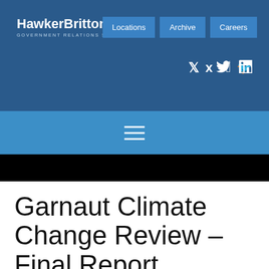HawkerBritton – Government Relations Strategy
Locations | Archive | Careers
Garnaut Climate Change Review – Final Report